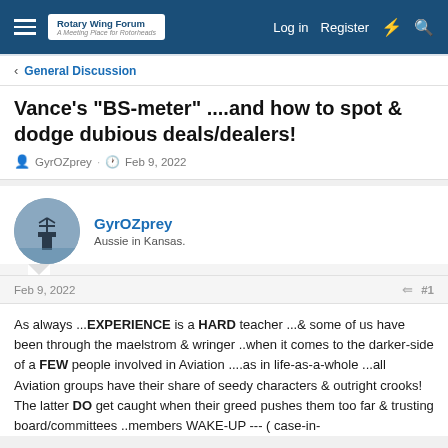Rotary Wing Forum — A Meeting Place for Rotorheads | Log in | Register
General Discussion
Vance's "BS-meter" ....and how to spot & dodge dubious deals/dealers!
GyrOZprey · Feb 9, 2022
GyrOZprey
Aussie in Kansas.
Feb 9, 2022 #1
As always ...EXPERIENCE is a HARD teacher ...& some of us have been through the maelstrom & wringer ..when it comes to the darker-side of a FEW people involved in Aviation ....as in life-as-a-whole ...all Aviation groups have their share of seedy characters & outright crooks!
The latter DO get caught when their greed pushes them too far & trusting board/committees ..members WAKE-UP --- ( case-in-